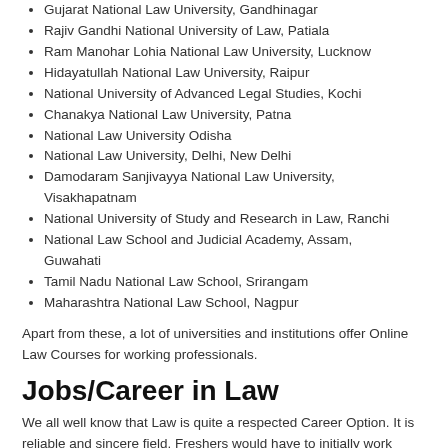Gujarat National Law University, Gandhinagar
Rajiv Gandhi National University of Law, Patiala
Ram Manohar Lohia National Law University, Lucknow
Hidayatullah National Law University, Raipur
National University of Advanced Legal Studies, Kochi
Chanakya National Law University, Patna
National Law University Odisha
National Law University, Delhi, New Delhi
Damodaram Sanjivayya National Law University, Visakhapatnam
National University of Study and Research in Law, Ranchi
National Law School and Judicial Academy, Assam, Guwahati
Tamil Nadu National Law School, Srirangam
Maharashtra National Law School, Nagpur
Apart from these, a lot of universities and institutions offer Online Law Courses for working professionals.
Jobs/Career in Law
We all well know that Law is quite a respected Career Option. It is reliable and sincere field. Freshers would have to initially work under a